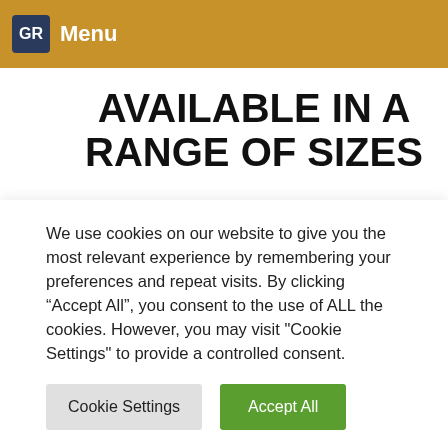GR Menu
AVAILABLE IN A RANGE OF SIZES
View Popular Pruners
[Figure (photo): Partial view of a pruner blade/tool emerging from the bottom of the content area]
We use cookies on our website to give you the most relevant experience by remembering your preferences and repeat visits. By clicking “Accept All”, you consent to the use of ALL the cookies. However, you may visit "Cookie Settings" to provide a controlled consent.